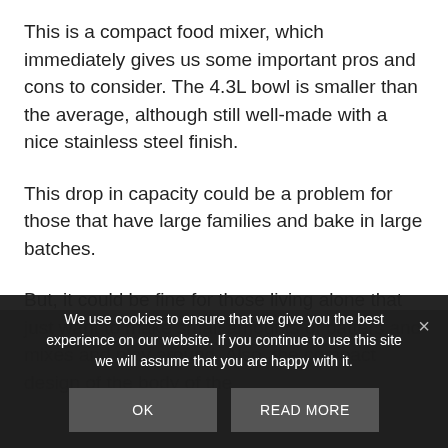This is a compact food mixer, which immediately gives us some important pros and cons to consider. The 4.3L bowl is smaller than the average, although still well-made with a nice stainless steel finish.
This drop in capacity could be a problem for those that have large families and bake in large batches.
But, it could be fine for those living alone that just want to make small amounts of batters and mixes and play around. Also, the compact design of the body of the
We use cookies to ensure that we give you the best experience on our website. If you continue to use this site we will assume that you are happy with it.